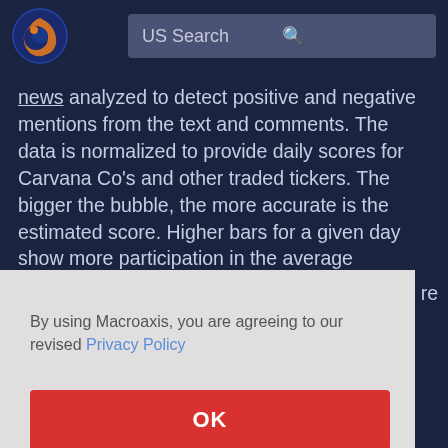[Figure (logo): Macroaxis circular logo with orange and blue globe icon]
US Search
news analyzed to detect positive and negative mentions from the text and comments. The data is normalized to provide daily scores for Carvana Co's and other traded tickers. The bigger the bubble, the more accurate is the estimated score. Higher bars for a given day show more participation in the average Carvana Co's news
re
By using Macroaxis, you are agreeing to our revised Privacy Policy
OK